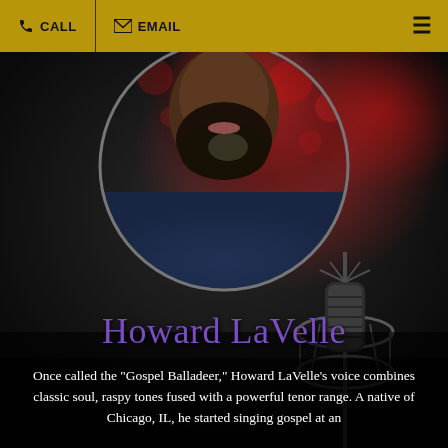CALL | EMAIL
[Figure (photo): Circular cropped portrait photo of Howard LaVelle, a Black man with a beard wearing a dark blue patterned jacket, set against a red bokeh background. A studio condenser microphone is visible in the lower right of the full image.]
Howard LaVelle
Once called the "Gospel Balladeer," Howard LaVelle's voice combines classic soul, raspy tones fused with a powerful tenor range. A native of Chicago, IL, he started singing gospel at an